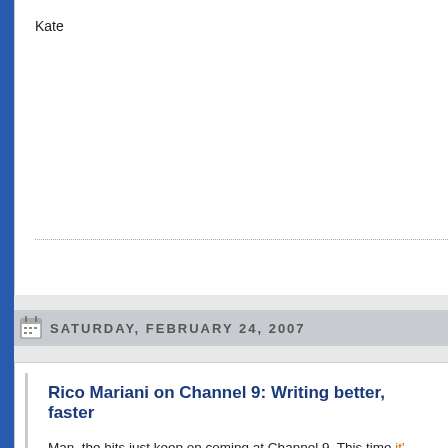Kate
SATURDAY, FEBRUARY 24, 2007
Rico Mariani on Channel 9: Writing better, faster
Man, the hits just keep on coming at Channel 9. This time it's Rico Mariani, inventor of the Learning Centre, and a Commodore PET (all things from my past that I loved) talking about performance debugging and eventually about how to make your programs faster.
Want to be seen as an expert? Want to be put in charge of s
Kate